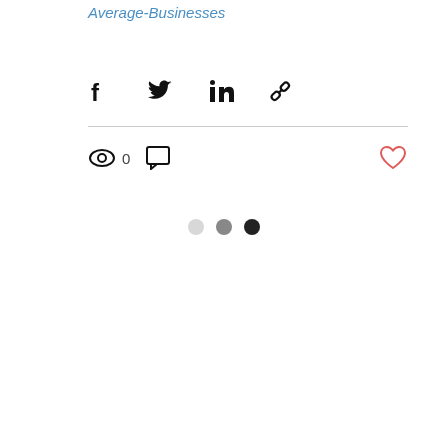Average-Businesses
[Figure (other): Social share icons: Facebook, Twitter, LinkedIn, link/chain icon]
[Figure (other): Stats bar: eye/views icon with count 0, comment icon, and heart/like icon (red outline)]
[Figure (other): Three pagination dots: light gray, medium gray, dark/black]